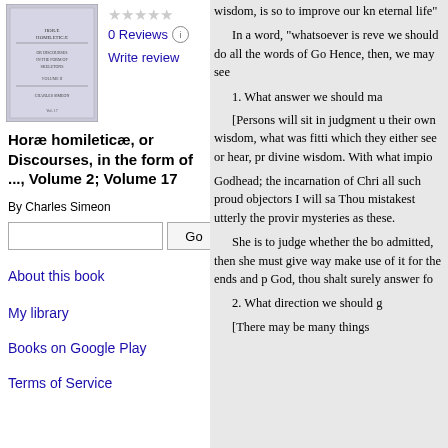[Figure (illustration): Book cover thumbnail for Horae homileticae]
0 Reviews
Write review
Horae homileticae, or Discourses, in the form of ..., Volume 2; Volume 17
By Charles Simeon
About this book
My library
Books on Google Play
Terms of Service
wisdom, is so to improve our knowledge eternal life"

In a word, "whatsoever is reve we should do all the words of Go Hence, then, we may see

1. What answer we should ma

[Persons will sit in judgment u their own wisdom, what was fitti which they either see or hear, pr divine wisdom. With what impio

Godhead; the incarnation of Chri all such proud objectors I will sa Thou mistakest utterly the provir mysteries as these.

She is to judge whether the bo admitted, then she must give way make use of it for the ends and p God, thou shalt surely answer fo

2. What direction we should g

[There may be many things